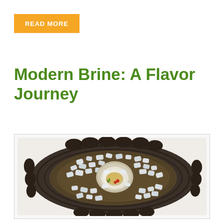READ MORE
Modern Brine: A Flavor Journey
[Figure (photo): An oyster on the half shell garnished with red berries and green herbs, presented on a bed of crushed ice atop a dark rustic ridged ceramic or stone plate, photographed from above on a white background.]